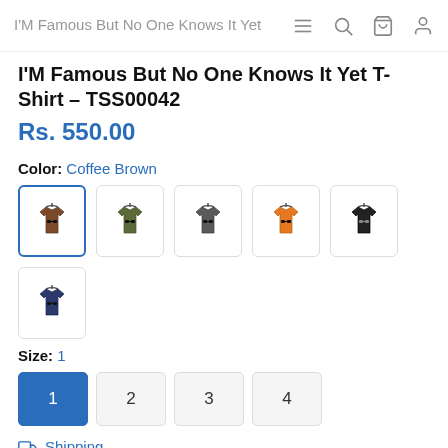I'M Famous But No One Knows It Yet T-Shirt - TSS00042
I'M Famous But No One Knows It Yet T-Shirt – TSS00042
Rs. 550.00
Color: Coffee Brown
[Figure (illustration): Six t-shirt color swatches: Coffee Brown (selected), Olive Green, Dark Grey, Orange, Black, Navy Blue]
Size: 1
Size options: 1 (selected), 2, 3, 4
Shipping